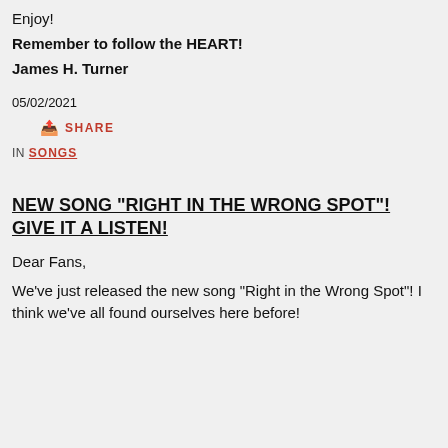Enjoy!
Remember to follow the HEART!
James H. Turner
05/02/2021
SHARE
IN SONGS
NEW SONG "RIGHT IN THE WRONG SPOT"! GIVE IT A LISTEN!
Dear Fans,
We've just released the new song "Right in the Wrong Spot"!  I think we've all found ourselves here before!